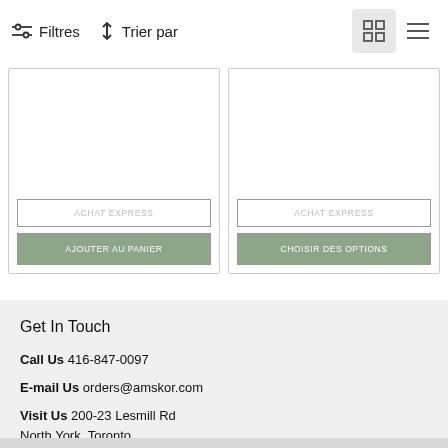Filtres   Trier par
[Figure (screenshot): Two product cards each with 'ACHAT EXPRESS' outline button and action button. Left card has 'AJOUTER AU PANIER' green button. Right card has 'CHOISIR DES OPTIONS' green button.]
Get In Touch
Call Us 416-847-0097
E-mail Us orders@amskor.com
Visit Us 200-23 Lesmill Rd
North York, Toronto
M3B 3P6, ON